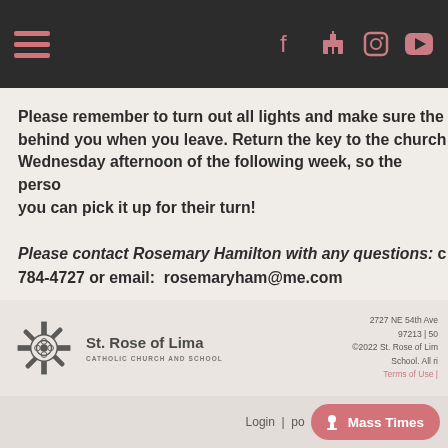Navigation bar with hamburger menu and social icons
Please remember to turn out all lights and make sure the behind you when you leave. Return the key to the church Wednesday afternoon of the following week, so the person you can pick it up for their turn!
Please contact Rosemary Hamilton with any questions: c 784-4727 or email: rosemaryham@me.com
[Figure (logo): St. Rose of Lima Catholic Church and School logo with cross emblem]
2727 NE 54th Ave 97213 | 50 ©2022 St. Rose of Lima School. All r Terms of Use
Login | po  Mass Times